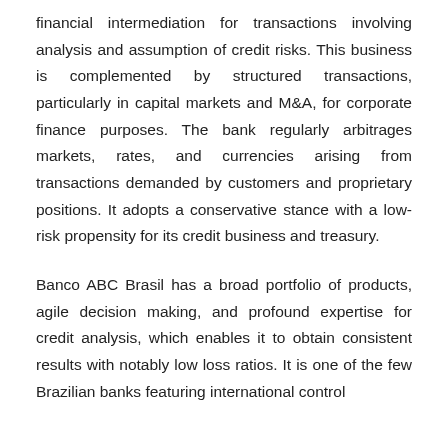financial intermediation for transactions involving analysis and assumption of credit risks. This business is complemented by structured transactions, particularly in capital markets and M&A, for corporate finance purposes. The bank regularly arbitrages markets, rates, and currencies arising from transactions demanded by customers and proprietary positions. It adopts a conservative stance with a low-risk propensity for its credit business and treasury.
Banco ABC Brasil has a broad portfolio of products, agile decision making, and profound expertise for credit analysis, which enables it to obtain consistent results with notably low loss ratios. It is one of the few Brazilian banks featuring international control